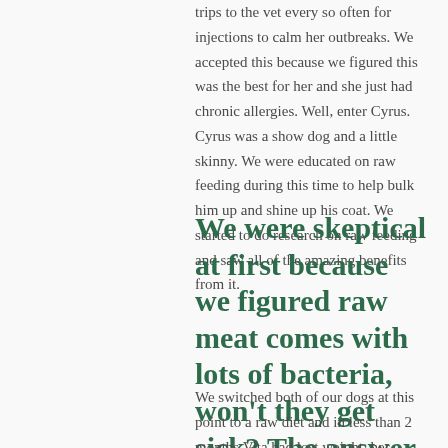trips to the vet every so often for injections to calm her outbreaks. We accepted this because we figured this was the best for her and she just had chronic allergies. Well, enter Cyrus. Cyrus was a show dog and a little skinny. We were educated on raw feeding during this time to help bulk him up and shine up his coat. We started to do research on raw feeding and saw all of the amazing benefits from it.
We were skeptical at first because we figured raw meat comes with lots of bacteria, won't they get sick? The answer was no, they will get healthy!
We switched both of our dogs at this point to a raw diet and in less than 2 months Vita had lost weight, her allergies cleared up (she does still suffer from runny eyes